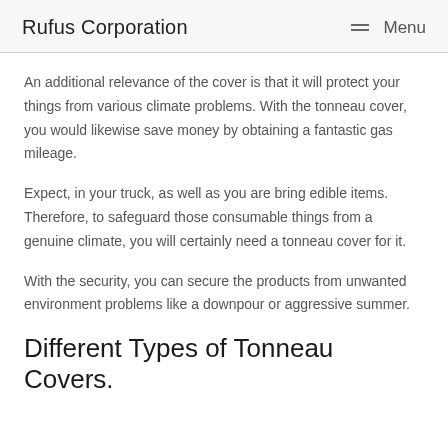Rufus Corporation   Menu
An additional relevance of the cover is that it will protect your things from various climate problems. With the tonneau cover, you would likewise save money by obtaining a fantastic gas mileage.
Expect, in your truck, as well as you are bring edible items. Therefore, to safeguard those consumable things from a genuine climate, you will certainly need a tonneau cover for it.
With the security, you can secure the products from unwanted environment problems like a downpour or aggressive summer.
Different Types of Tonneau Covers.